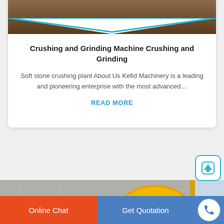[Figure (photo): Industrial machinery / crushing equipment photo at top of card with teal chevron divider]
Crushing and Grinding Machine Crushing and Grinding
Soft stone crushing plant About Us Kefid Machinery is a leading and pioneering enterprise with the most advanced…
READ MORE
[Figure (photo): Large yellow ball mill / grinding machine at industrial facility]
Online Chat
Get Quotation